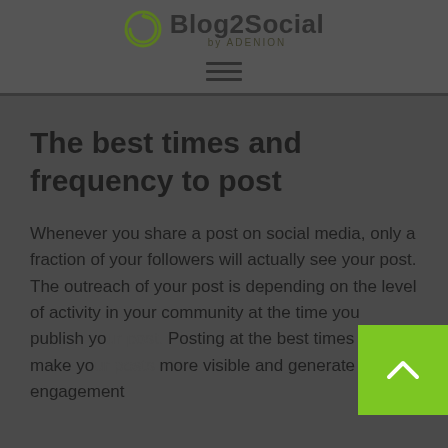[Figure (logo): Blog2Social by ADENION logo with circular arrow icon]
[Figure (other): Hamburger/menu icon with three horizontal lines]
The best times and frequency to post
Whenever you share a post on social media, only a fraction of your followers will actually see your post. The outreach of your post is depending on the level of activity in your community at the time you publish yo... Posting at the best times will make yo... more visible and generate more engagement